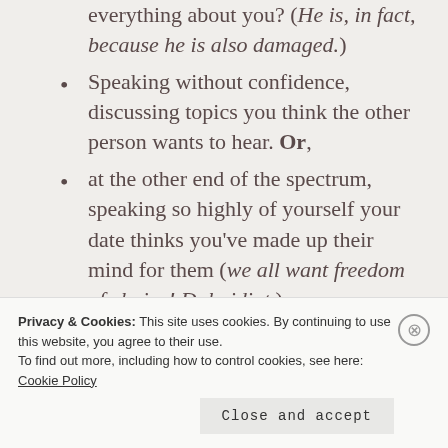everything about you? (He is, in fact, because he is also damaged.)
Speaking without confidence, discussing topics you think the other person wants to hear. Or,
at the other end of the spectrum, speaking so highly of yourself your date thinks you've made up their mind for them (we all want freedom of choice! Duh, idiot.)
Being really picky over, say, a ...
Privacy & Cookies: This site uses cookies. By continuing to use this website, you agree to their use.
To find out more, including how to control cookies, see here: Cookie Policy
Close and accept